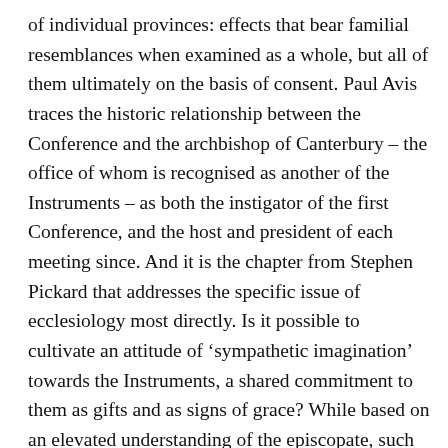of individual provinces: effects that bear familial resemblances when examined as a whole, but all of them ultimately on the basis of consent. Paul Avis traces the historic relationship between the Conference and the archbishop of Canterbury – the office of whom is recognised as another of the Instruments – as both the instigator of the first Conference, and the host and president of each meeting since. And it is the chapter from Stephen Pickard that addresses the specific issue of ecclesiology most directly. Is it possible to cultivate an attitude of 'sympathetic imagination' towards the Instruments, a shared commitment to them as gifts and as signs of grace? While based on an elevated understanding of the episcopate, such an understanding can, Pickard suggests, accommodate the contingent and thus mutable nature of the Instruments whilst still being able to avoid mere pragmatism and resist the manoeuvring of